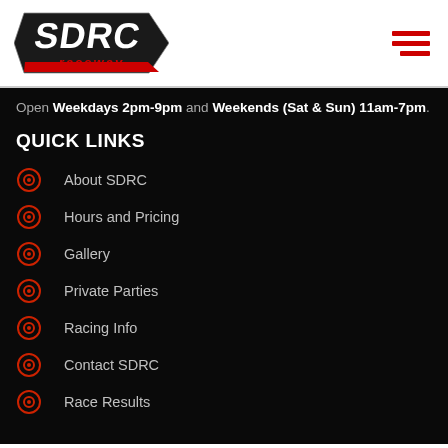[Figure (logo): SDRC Raceway logo — stylized angular lettering in black and red on white background]
[Figure (other): Hamburger menu icon — three horizontal red bars on white background]
Open Weekdays 2pm-9pm and Weekends (Sat & Sun) 11am-7pm.
QUICK LINKS
About SDRC
Hours and Pricing
Gallery
Private Parties
Racing Info
Contact SDRC
Race Results